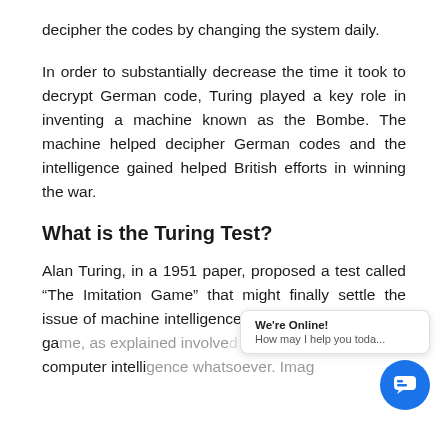decipher the codes by changing the system daily.
In order to substantially decrease the time it took to decrypt German code, Turing played a key role in inventing a machine known as the Bombe. The machine helped decipher German codes and the intelligence gained helped British efforts in winning the war.
What is the Turing Test?
Alan Turing, in a 1951 paper, proposed a test called “The Imitation Game” that might finally settle the issue of machine intelligence. The first version of the game, as explained involved computer intelligence whatsoever. Imag...